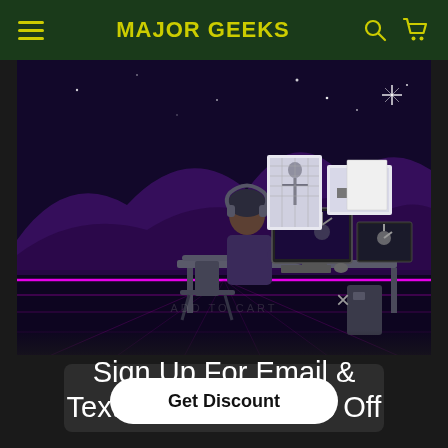MAJOR GEEKS
[Figure (illustration): Animated illustration of a person sitting at a gaming desk with multiple monitors displaying various content, set against a dark purple starry background with neon pink grid floor lines and purple mountain silhouettes.]
×
Sign Up For Email & Texts To Unlock 10% Off
Get Discount